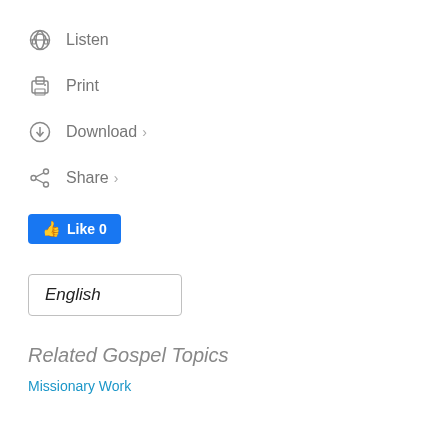Listen
Print
Download >
Share >
[Figure (other): Facebook Like button showing 'Like 0' in blue]
English
Related Gospel Topics
Missionary Work